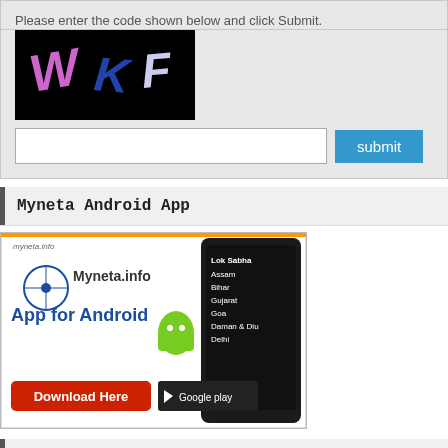Please enter the code shown below and click Submit.
[Figure (other): CAPTCHA image with characters W K F on black background]
Myneta Android App
[Figure (other): Myneta.info Android App banner with Google Play download button, showing app features for Lok Sabha, Assam, Bihar, Gujarat, Goa, Daman & Diu, Delhi]
HelpLine & SMS
You can get complete details of your Neta by calling us at 1800-110-440 or sending SMS at 9212356070. For more details click here.
Connect with us